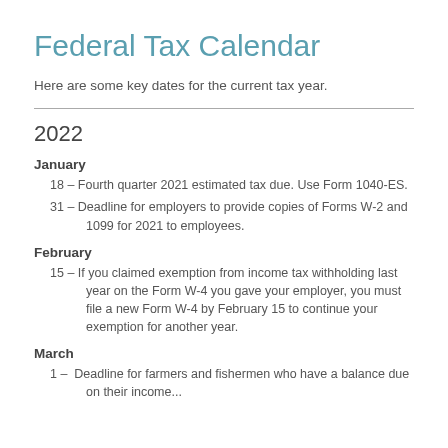Federal Tax Calendar
Here are some key dates for the current tax year.
2022
January
18 – Fourth quarter 2021 estimated tax due. Use Form 1040-ES.
31 – Deadline for employers to provide copies of Forms W-2 and 1099 for 2021 to employees.
February
15 – If you claimed exemption from income tax withholding last year on the Form W-4 you gave your employer, you must file a new Form W-4 by February 15 to continue your exemption for another year.
March
1 – Deadline for farmers and fishermen who have a balance due on their income...